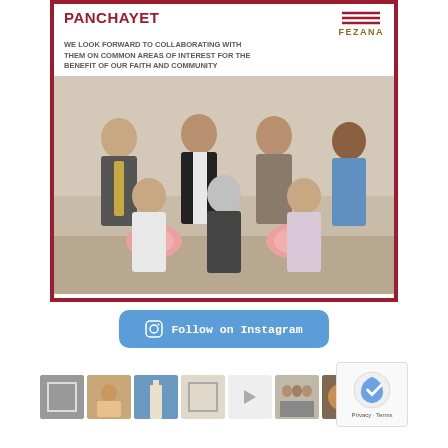[Figure (photo): Social media card with FEZANA logo and text 'PANCHAYET' with subtitle 'WE LOOK FORWARD TO COLLABORATING WITH THEM ON COMMON AREAS OF INTEREST FOR THE BENEFIT OF OUR FAITH AND COMMUNITY', showing a group photo of 7 people (4 men standing, 3 women seated) with flowers on a table]
Follow on Instagram
[Figure (photo): Row of Instagram thumbnail images showing various community photos, with a reCAPTCHA badge on the right side]